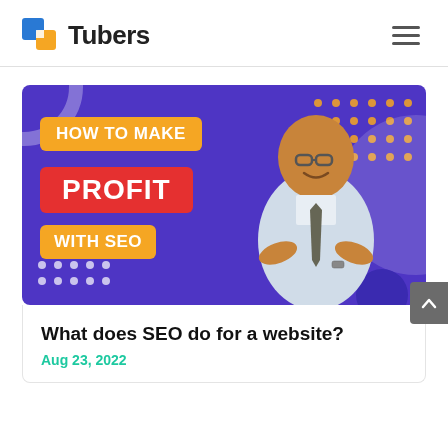Tubers
[Figure (illustration): Article thumbnail with purple background showing text labels: 'HOW TO MAKE' in orange, 'PROFIT' in red, 'WITH SEO' in orange, with a man in business attire and tie with arms crossed on the right side. Decorative dots and circles on the background.]
What does SEO do for a website?
Aug 23, 2022